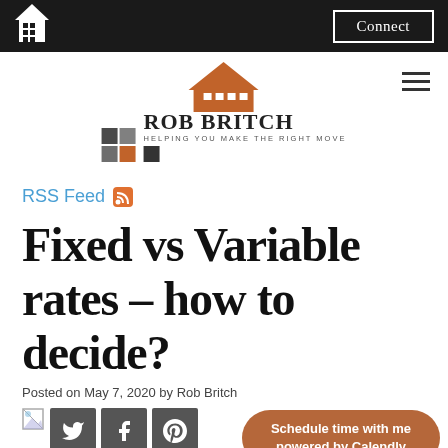Connect
[Figure (logo): Rob Britch real estate logo with house icon, colored squares, and tagline 'Helping you make the right move']
RSS Feed
Fixed vs Variable rates – how to decide?
Posted on May 7, 2020 by Rob Britch
[Figure (illustration): Small broken image placeholder icon]
[Figure (infographic): Social share buttons for Twitter, Facebook, Pinterest]
Schedule time with me powered by Calendly